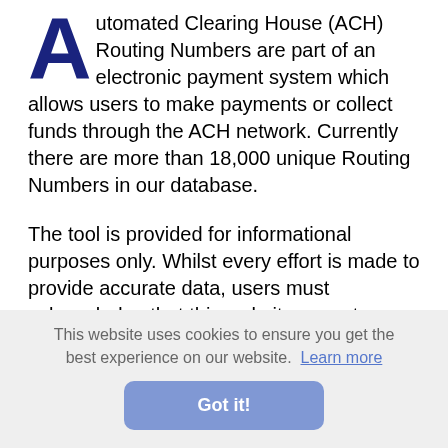Automated Clearing House (ACH) Routing Numbers are part of an electronic payment system which allows users to make payments or collect funds through the ACH network. Currently there are more than 18,000 unique Routing Numbers in our database.
The tool is provided for informational purposes only. Whilst every effort is made to provide accurate data, users must acknowledge that this website accepts no liability whatsoever with respect to its accuracy. Only your bank can confirm the correct bank account information. If you are making an important payment, which is time critical, we recommend to contact your bank first.
This website uses cookies to ensure you get the best experience on our website.  Learn more
Got it!